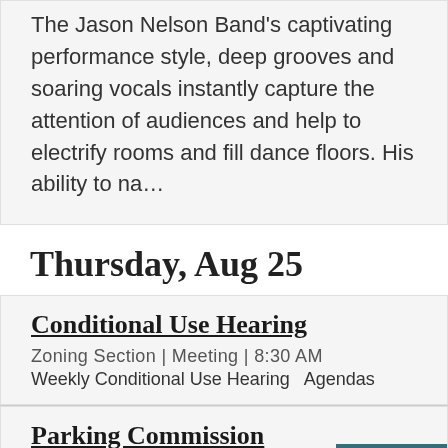The Jason Nelson Band's captivating performance style, deep grooves and soaring vocals instantly capture the attention of audiences and help to electrify rooms and fill dance floors. His ability to na…
Thursday, Aug 25
Conditional Use Hearing
Zoning Section | Meeting | 8:30 AM
Weekly Conditional Use Hearing   Agendas
Parking Commission Meeting
Parking Commission | Meeting | 11:00 AM